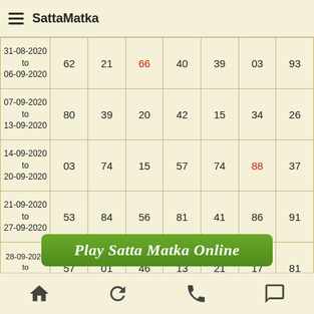SattaMatka
| Date |  |  |  |  |  |  |  |
| --- | --- | --- | --- | --- | --- | --- | --- |
| 31-08-2020 to 06-09-2020 | 62 | 21 | 66 | 40 | 39 | 03 | 93 |
| 07-09-2020 to 13-09-2020 | 80 | 39 | 20 | 42 | 15 | 34 | 26 |
| 14-09-2020 to 20-09-2020 | 03 | 74 | 15 | 57 | 74 | 88 | 37 |
| 21-09-2020 to 27-09-2020 | 53 | 84 | 56 | 81 | 41 | 86 | 91 |
| 28-09-2020 to 04-10-2020 | 57 | 01 | 46 | 13 | 21 | 17 | 81 |
[Figure (other): Green banner button reading 'Play Satta Matka Online']
Home | Refresh | Phone | Chat